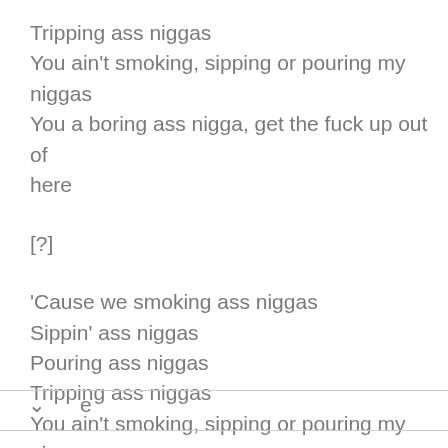Tripping ass niggas
You ain't smoking, sipping or pouring my niggas
You a boring ass nigga, get the fuck up out of here
[?]
'Cause we smoking ass niggas
Sippin' ass niggas
Pouring ass niggas
Tripping ass niggas
You ain't smoking, sipping or pouring my niggas
You a boring ass nigga, get the fuck up out of
e